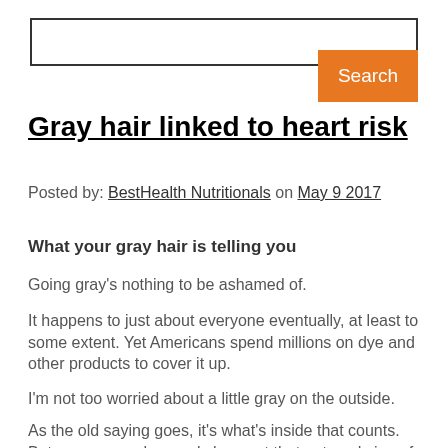[Figure (other): Search input box with orange Search button]
Gray hair linked to heart risk
Posted by: BestHealth Nutritionals on May 9 2017
What your gray hair is telling you
Going gray's nothing to be ashamed of.
It happens to just about everyone eventually, at least to some extent. Yet Americans spend millions on dye and other products to cover it up.
I'm not too worried about a little gray on the outside.
As the old saying goes, it's what's inside that counts. But new research reveals how out that outward sign of aging could also be a signal of some problems on the inside.